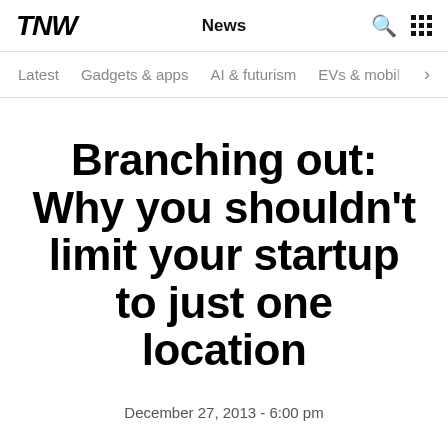TNW | News
Latest   Gadgets & apps   AI & futurism   EVs & mobi… >
Branching out: Why you shouldn't limit your startup to just one location
December 27, 2013 - 6:00 pm